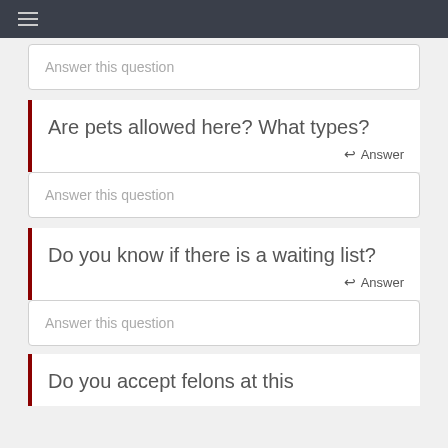≡
Answer this question
Are pets allowed here? What types?
Answer
Answer this question
Do you know if there is a waiting list?
Answer
Answer this question
Do you accept felons at this